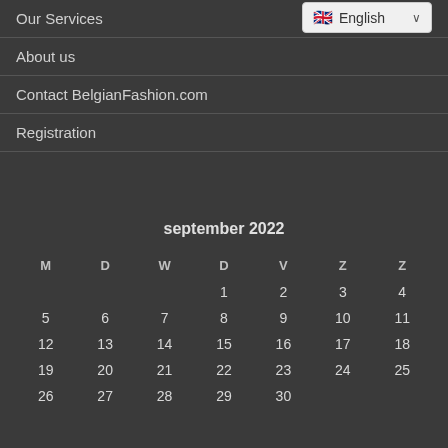Our Services
About us
Contact BelgianFashion.com
Registration
| M | D | W | D | V | Z | Z |
| --- | --- | --- | --- | --- | --- | --- |
|  |  |  | 1 | 2 | 3 | 4 |
| 5 | 6 | 7 | 8 | 9 | 10 | 11 |
| 12 | 13 | 14 | 15 | 16 | 17 | 18 |
| 19 | 20 | 21 | 22 | 23 | 24 | 25 |
| 26 | 27 | 28 | 29 | 30 |  |  |